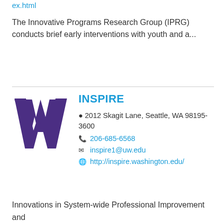ex.html
The Innovative Programs Research Group (IPRG) conducts brief early interventions with youth and a...
[Figure (logo): University of Washington block W logo in purple]
INSPIRE
2012 Skagit Lane, Seattle, WA 98195-3600
206-685-6568
inspire1@uw.edu
http://inspire.washington.edu/
Innovations in System-wide Professional Improvement and